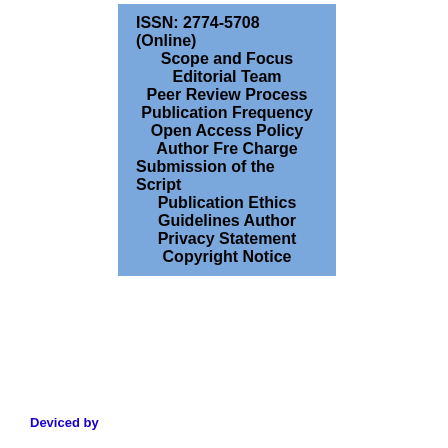ISSN: 2774-5708 (Online)
Scope and Focus
Editorial Team
Peer Review Process
Publication Frequency
Open Access Policy
Author Fre Charge
Submission of the Script
Publication Ethics
Guidelines Author
Privacy Statement
Copyright Notice
Deviced by